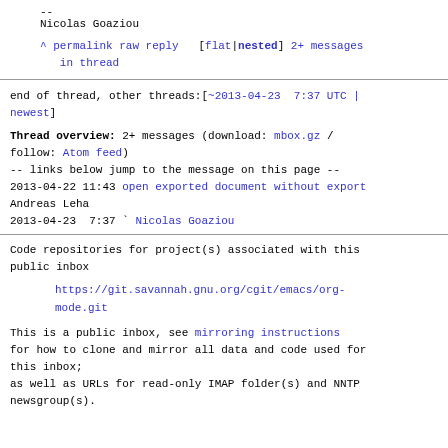--
Nicolas Goaziou
^ permalink raw reply  [flat|nested] 2+ messages in thread
end of thread, other threads:[~2013-04-23  7:37 UTC | newest]
Thread overview: 2+ messages (download: mbox.gz / follow: Atom feed)
-- links below jump to the message on this page --
2013-04-22 11:43 open exported document without export Andreas Leha
2013-04-23  7:37 ` Nicolas Goaziou
Code repositories for project(s) associated with this public inbox
https://git.savannah.gnu.org/cgit/emacs/org-mode.git
This is a public inbox, see mirroring instructions for how to clone and mirror all data and code used for this inbox;
as well as URLs for read-only IMAP folder(s) and NNTP newsgroup(s).